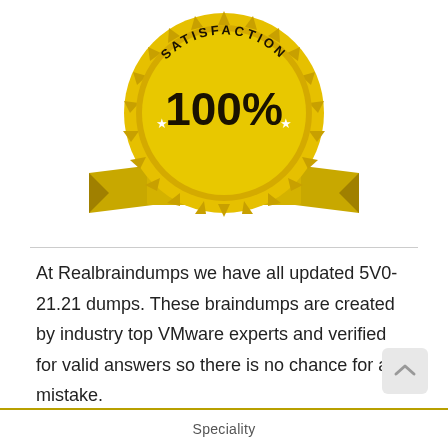[Figure (illustration): Gold satisfaction guarantee seal badge with '100%' in large text, 'SATISFACTION' on top arc, 'GUARANTEED' on ribbon banner, stars decorating the ribbon]
At Realbraindumps we have all updated 5V0-21.21 dumps. These braindumps are created by industry top VMware experts and verified for valid answers so there is no chance for any mistake.
Speciality